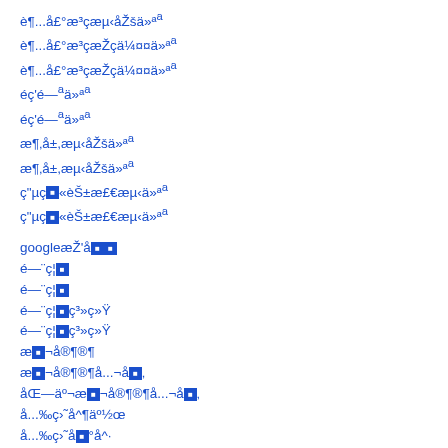è¶...å£°æ³çæµ‹åŽšä»ª
è¶...å£°æ³çæŽçä¼¤¤ä»ª
è¶...å£°æ³çæŽçä¼¤¤ä»ª
éç'é—ªä»ª
éç'é—ªä»ª
æ¶‚å±,æµ‹åŽšä»ª
æ¶‚å±,æµ‹åŽšä»ª
ç"µç■«èŠ±æ£€æµ‹ä»ª
ç"µç■«èŠ±æ£€æµ‹ä»ª
googleæŽ'å■■
é—¨ç¦■
é—¨ç¦■
é—¨ç¦■ç³»ç»Ÿ
é—¨ç¦■ç³»ç»Ÿ
æ■¬å®¶®¶
æ■¬å®¶®¶å...¬å■‚
åŒ—äº¬æ■¬å®¶®¶å...¬å■‚
å...‰ç›˜å^¶äº½œ
å...‰ç›˜å■°å^·
å...‰ç›˜å■°å^·